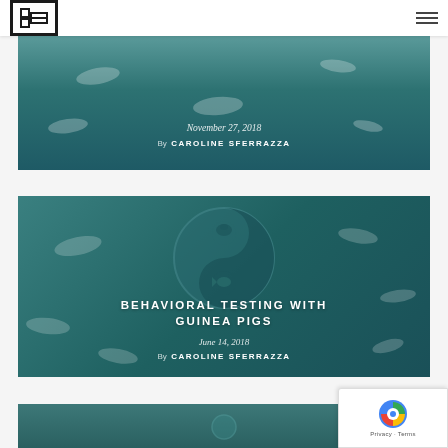[Figure (screenshot): Website navigation bar with logo (stylized ME in box) on left and hamburger menu icon on right]
[Figure (photo): Partial blog card with teal/dark green background showing date November 27, 2018 and author Caroline Sferrazza]
November 27, 2018
By  CAROLINE SFERRAZZA
[Figure (illustration): Blog card with teal background and yin-yang style illustration featuring turtle and fish silhouettes, titled BEHAVIORAL TESTING WITH GUINEA PIGS]
BEHAVIORAL TESTING WITH GUINEA PIGS
June 14, 2018
By  CAROLINE SFERRAZZA
[Figure (photo): Partial blog card at bottom of page with teal background]